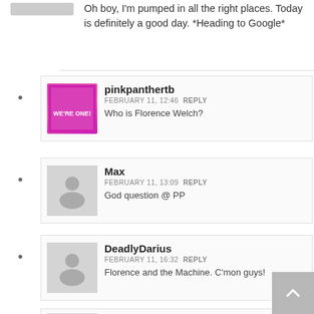Oh boy, I'm pumped in all the right places. Today is definitely a good day. *Heading to Google*
pinkpanthertb
FEBRUARY 11, 12:46 REPLY
Who is Florence Welch?
Max
FEBRUARY 11, 13:09 REPLY
God question @ PP
DeadlyDarius
FEBRUARY 11, 16:32 REPLY
Florence and the Machine. C'mon guys!
Colossus
FEBRUARY 11, 17:22 REPLY